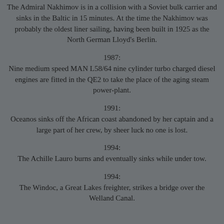The Admiral Nakhimov is in a collision with a Soviet bulk carrier and sinks in the Baltic in 15 minutes. At the time the Nakhimov was probably the oldest liner sailing, having been built in 1925 as the North German Lloyd's Berlin.
1987:
Nine medium speed MAN L58/64 nine cylinder turbo charged diesel engines are fitted in the QE2 to take the place of the aging steam power-plant.
1991:
Oceanos sinks off the African coast abandoned by her captain and a large part of her crew, by sheer luck no one is lost.
1994:
The Achille Lauro burns and eventually sinks while under tow.
1994:
The Windoc, a Great Lakes freighter, strikes a bridge over the Welland Canal.
RMSTitanicHistory.com